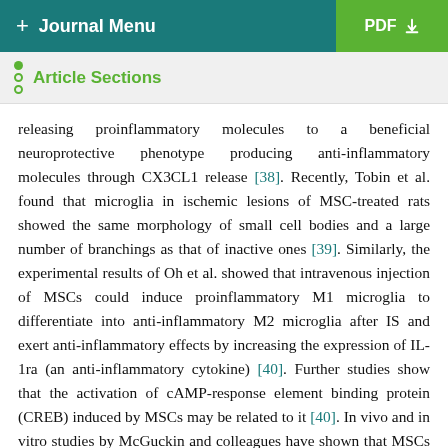+ Journal Menu | PDF
Article Sections
releasing proinflammatory molecules to a beneficial neuroprotective phenotype producing anti-inflammatory molecules through CX3CL1 release [38]. Recently, Tobin et al. found that microglia in ischemic lesions of MSC-treated rats showed the same morphology of small cell bodies and a large number of branchings as that of inactive ones [39]. Similarly, the experimental results of Oh et al. showed that intravenous injection of MSCs could induce proinflammatory M1 microglia to differentiate into anti-inflammatory M2 microglia after IS and exert anti-inflammatory effects by increasing the expression of IL-1ra (an anti-inflammatory cytokine) [40]. Further studies show that the activation of cAMP-response element binding protein (CREB) induced by MSCs may be related to it [40]. In vivo and in vitro studies by McGuckin and colleagues have shown that MSCs can cause low expression of microglia activation markers (ED1 and Iba) and astrocyte proliferation markers (GFAP) [41]. It is suggested that the immunomodulatory effects of MSCs may be related to the